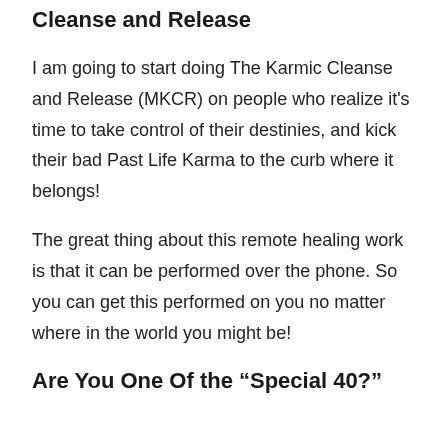Cleanse and Release
I am going to start doing The Karmic Cleanse and Release (MKCR) on people who realize it's time to take control of their destinies, and kick their bad Past Life Karma to the curb where it belongs!
The great thing about this remote healing work is that it can be performed over the phone. So you can get this performed on you no matter where in the world you might be!
Are You One Of the “Special 40?”